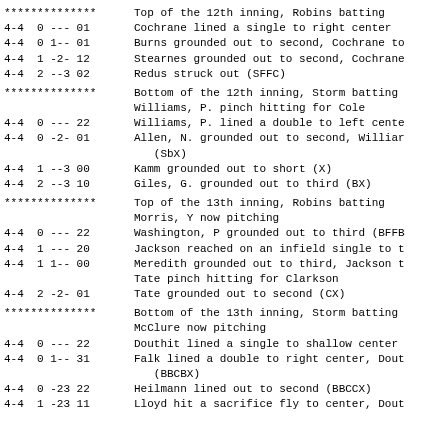************** Top of the 12th inning, Robins batting
4-4  0 --- 01  Cochrane lined a single to right center
4-4  0 1-- 01  Burns grounded out to second, Cochrane to
4-4  1 -2- 12  Stearnes grounded out to second, Cochrane
4-4  2 --3 02  Redus struck out (SFFC)
************** Bottom of the 12th inning, Storm batting
Williams, P. pinch hitting for Cole
4-4  0 --- 22  Williams, P. lined a double to left cente
4-4  0 -2- 01  Allen, N. grounded out to second, Williar (SbX)
4-4  1 --3 00  Kamm grounded out to short (X)
4-4  2 --3 10  Giles, G. grounded out to third (BX)
************** Top of the 13th inning, Robins batting
Morris, Y now pitching
4-4  0 --- 22  Washington, P grounded out to third (BFFB
4-4  1 --- 20  Jackson reached on an infield single to t
4-4  1 1-- 00  Meredith grounded out to third, Jackson t
Tate pinch hitting for Clarkson
4-4  2 -2- 01  Tate grounded out to second (CX)
************** Bottom of the 13th inning, Storm batting
McClure now pitching
4-4  0 --- 22  Douthit lined a single to shallow center
4-4  0 1-- 31  Falk lined a double to right center, Dout (BBCBX)
4-4  0 -23 22  Heilmann lined out to second (BBCCX)
4-4  1 -23 11  Lloyd hit a sacrifice fly to center, Dout